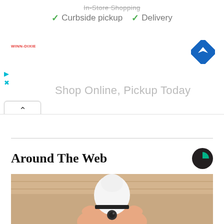[Figure (screenshot): Ad banner showing checkmarks for 'In-Store Shopping', 'Curbside pickup', and 'Delivery' with Winn-Dixie logo and Google Maps navigation icon. Text reads 'Shop Online, Pickup Today'. A collapse button with upward caret is visible.]
Around The Web
[Figure (photo): A hand holding a white light-bulb shaped security camera against a wooden floor background.]